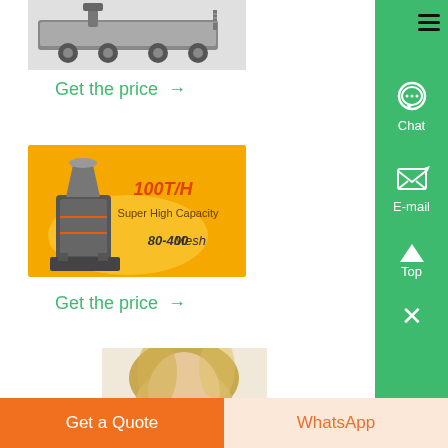[Figure (photo): Industrial mobile crusher/screening machine on wheels, grey background]
Get the price →
[Figure (photo): Industrial grinding mill machine on orange/yellow background. Text: 100T/H, Super High Capacity, 80-400 Mesh]
Get the price →
[Figure (photo): Partial photo of a person with blonde hair]
Get a Quote
WhatsApp